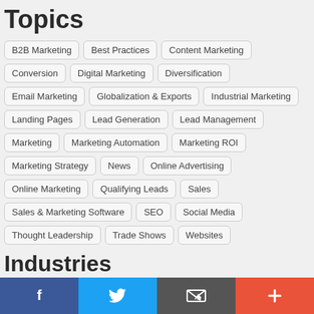Topics
B2B Marketing
Best Practices
Content Marketing
Conversion
Digital Marketing
Diversification
Email Marketing
Globalization & Exports
Industrial Marketing
Landing Pages
Lead Generation
Lead Management
Marketing
Marketing Automation
Marketing ROI
Marketing Strategy
News
Online Advertising
Online Marketing
Qualifying Leads
Sales
Sales & Marketing Software
SEO
Social Media
Thought Leadership
Trade Shows
Websites
Industries
[Figure (infographic): Social share footer bar with Facebook, Twitter, email, and plus icons]